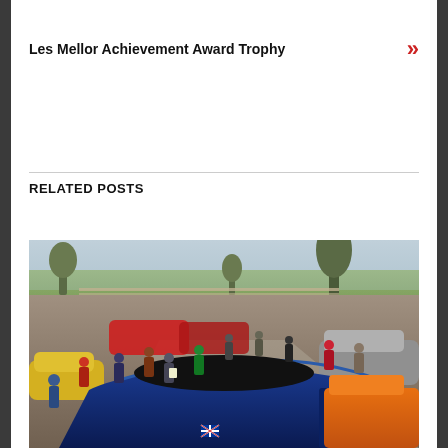Les Mellor Achievement Award Trophy »
RELATED POSTS
[Figure (photo): Outdoor car meet showing multiple sports cars including a blue Lotus in the foreground, orange car on the right, yellow car on the left, red cars in the background. Many people gathered around the cars in a driveway area with fields and trees visible in the background.]